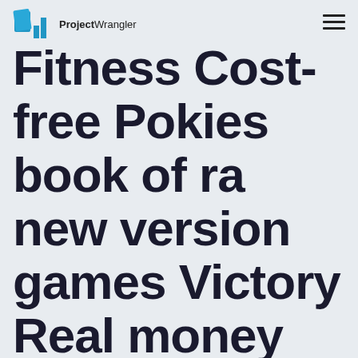ProjectWrangler
Fitness Cost-free Pokies book of ra new version games Victory Real money